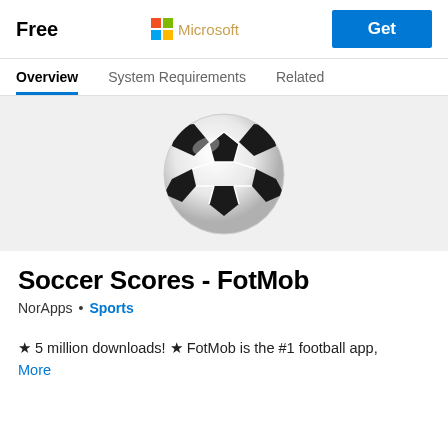Free
[Figure (logo): Microsoft logo with four colored squares and 'Microsoft' text in gold/orange color]
Get
Overview
System Requirements
Related
[Figure (photo): A soccer (football) ball with black and white design, shown against a light gray background]
Soccer Scores - FotMob
NorApps • Sports
★ 5 million downloads! ★ FotMob is the #1 football app,
More